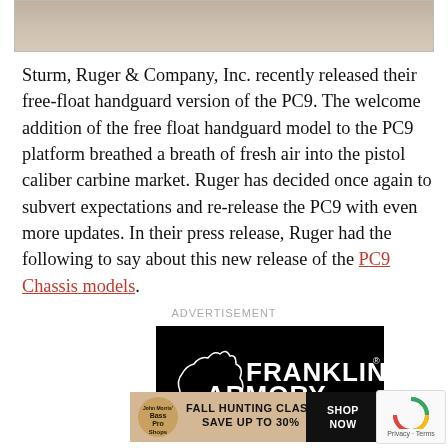[Figure (photo): Top portion of a photo showing tan/brown background, partially cropped at top of page]
Sturm, Ruger & Company, Inc. recently released their free-float handguard version of the PC9. The welcome addition of the free float handguard model to the PC9 platform breathed a breath of fresh air into the pistol caliber carbine market. Ruger has decided once again to subvert expectations and re-release the PC9 with even more updates. In their press release, Ruger had the following to say about this new release of the PC9 Chassis models.
ADVERTISEMENT
[Figure (illustration): Franklin Armory advertisement with black background showing company name in white bold text with silhouette logo]
[Figure (illustration): Bass Pro Shops Fall Hunting Classic advertisement - Save Up To 30% with Shop Now button]